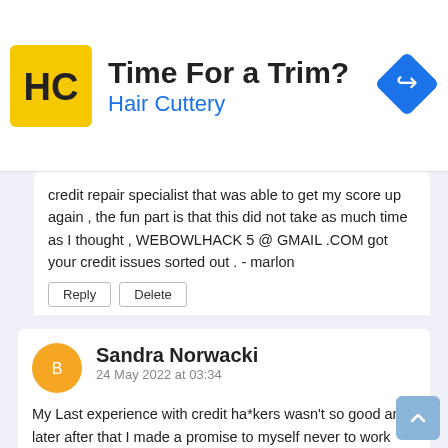[Figure (infographic): Advertisement banner for Hair Cuttery with logo, headline 'Time For a Trim?' and blue subtext 'Hair Cuttery', plus a blue diamond direction icon on the right.]
credit repair specialist that was able to get my score up again , the fun part is that this did not take as much time as I thought , WEBOWLHACK 5 @ GMAIL .COM got your credit issues sorted out . - marlon
Sandra Norwacki
24 May 2022 at 03:34

My Last experience with credit ha*kers wasn't so good and later after that I made a promise to myself never to work with any again because as they say none is to be trusted , after some months my friend came by to my place and was like "she had a good news for me " that she finally found a right credit Repairer I can trust with my credentials , she just finished working with them and the result I saw made me reach out to them ,
VIRTUALHACKNET AT GMAIL .COM is indeed a life saver and I could testify to their good works because he also